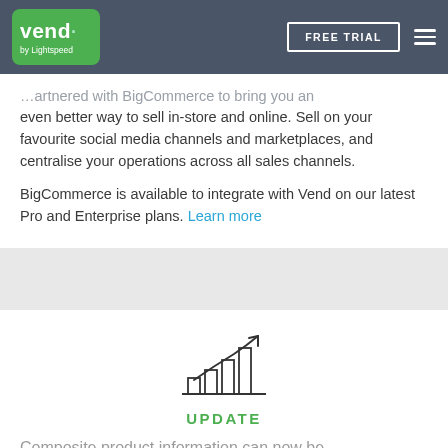[Figure (logo): Vend by Lightspeed logo in green rounded rectangle with white text]
FREE TRIAL
…artnered with BigCommerce to bring you an even better way to sell in-store and online. Sell on your favourite social media channels and marketplaces, and centralise your operations across all sales channels.
BigCommerce is available to integrate with Vend on our latest Pro and Enterprise plans. Learn more
[Figure (illustration): Bar chart with upward arrow icon representing growth/update]
UPDATE
Composite product information can now be